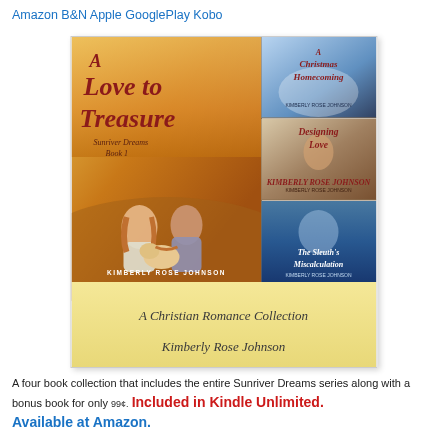Amazon B&N Apple GooglePlay Kobo
[Figure (illustration): Book cover collage for 'A Love to Treasure' by Kimberly Rose Johnson - A Christian Romance Collection featuring Sunriver Dreams series. Main cover shows couple sitting in a golden field with a puppy. Right side shows three mini covers: A Christmas Homecoming, Designing Love, and The Sleuth's Miscalculation. Bottom yellow band reads 'A Christian Romance Collection' and 'Kimberly Rose Johnson'.]
A four book collection that includes the entire Sunriver Dreams series along with a bonus book for only 99¢. Included in Kindle Unlimited. Available at Amazon.